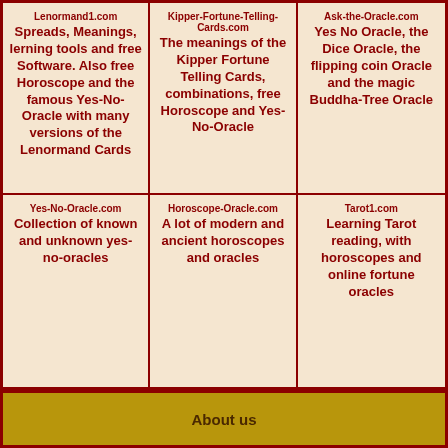Lenormand1.com
Spreads, Meanings, lerning tools and free Software. Also free Horoscope and the famous Yes-No-Oracle with many versions of the Lenormand Cards
Kipper-Fortune-Telling-Cards.com
The meanings of the Kipper Fortune Telling Cards, combinations, free Horoscope and Yes-No-Oracle
Ask-the-Oracle.com
Yes No Oracle, the Dice Oracle, the flipping coin Oracle and the magic Buddha-Tree Oracle
Yes-No-Oracle.com
Collection of known and unknown yes-no-oracles
Horoscope-Oracle.com
A lot of modern and ancient horoscopes and oracles
Tarot1.com
Learning Tarot reading, with horoscopes and online fortune oracles
About us